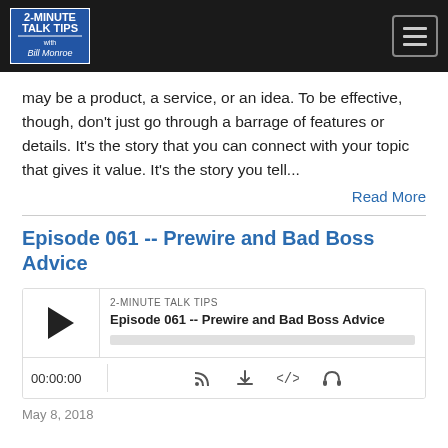2-MINUTE TALK TIPS with Bill Monroe
may be a product, a service, or an idea. To be effective, though, don't just go through a barrage of features or details. It's the story that you can connect with your topic that gives it value. It's the story you tell...
Read More
Episode 061 -- Prewire and Bad Boss Advice
[Figure (other): Audio player widget for '2-MINUTE TALK TIPS - Episode 061 -- Prewire and Bad Boss Advice' showing play button, episode info, progress bar, timestamp 00:00:00, and control icons for RSS, download, embed, and headphones.]
May 8, 2018